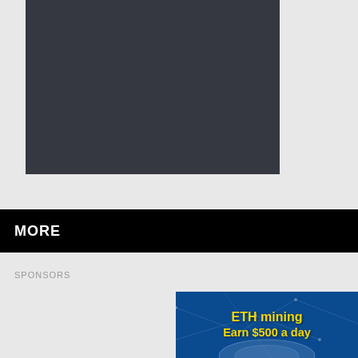[Figure (other): Dark gray/charcoal colored rectangle placeholder box, likely a video or image embed area]
MORE
SPONSORS
[Figure (infographic): Advertisement banner with blue network/blockchain background and yellow text reading 'ETH mining Earn $500 a day']